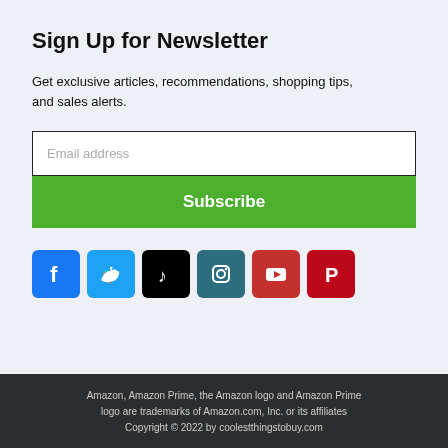Sign Up for Newsletter
Get exclusive articles, recommendations, shopping tips, and sales alerts.
Email address
Subscribe
[Figure (infographic): Row of 6 social media icon buttons: Facebook (blue), Twitter (light blue), TikTok (black), Instagram (dark teal), YouTube (red), Pinterest (red)]
Amazon, Amazon Prime, the Amazon logo and Amazon Prime logo are trademarks of Amazon.com, Inc. or its affiliates
Copyright © 2022 by coolestthingstobuy.com